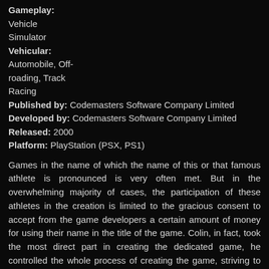Gameplay: Vehicle Simulator
Vehicular: Automobile, Off-roading, Track Racing
Published by: Codemasters Software Company Limited
Developed by: Codemasters Software Company Limited
Released: 2000
Platform: PlayStation (PSX, PS1)
Games in the name of which the name of this or that famous athlete is pronounced is very often met. But in the overwhelming majority of cases, the participation of these athletes in the creation is limited to the gracious consent to accept from the game developers a certain amount of money for using their name in the title of the game. Colin, in fact, took the most direct part in creating the dedicated game, he controlled the whole process of creating the game, striving to achieve maximum realism, to make the machine behave like a machine on a real rally in the game. And who knows better how the machine behaves there than Colin McRae...